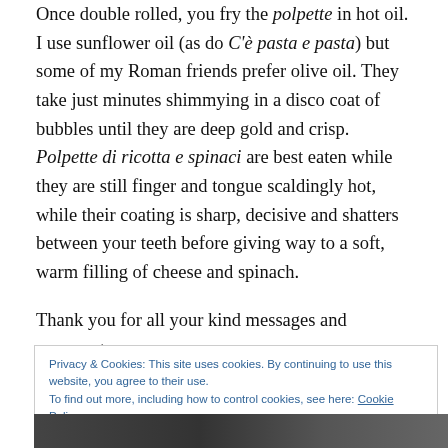Once double rolled, you fry the polpette in hot oil. I use sunflower oil (as do C'è pasta e pasta) but some of my Roman friends prefer olive oil. They take just minutes shimmying in a disco coat of bubbles until they are deep gold and crisp. Polpette di ricotta e spinaci are best eaten while they are still finger and tongue scaldingly hot, while their coating is sharp, decisive and shatters between your teeth before giving way to a soft, warm filling of cheese and spinach.
Thank you for all your kind messages and comments
Privacy & Cookies: This site uses cookies. By continuing to use this website, you agree to their use. To find out more, including how to control cookies, see here: Cookie Policy
[Figure (photo): Bottom strip showing part of a photograph, dark tones]